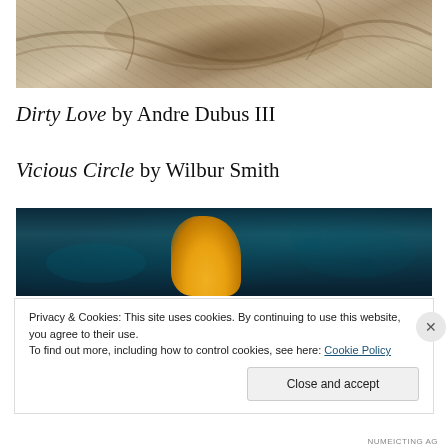[Figure (photo): Top portion of a marbled beige/tan painting or surface with dark brown streaks, resembling swirling stone or marble texture]
Dirty Love by Andre Dubus III
Vicious Circle by Wilbur Smith
[Figure (photo): Dark teal/blue background with a yellow-orange glowing blob shape at center-bottom, resembling abstract underwater or night scene]
Privacy & Cookies: This site uses cookies. By continuing to use this website, you agree to their use.
To find out more, including how to control cookies, see here: Cookie Policy
Close and accept
NUMEICTING AG